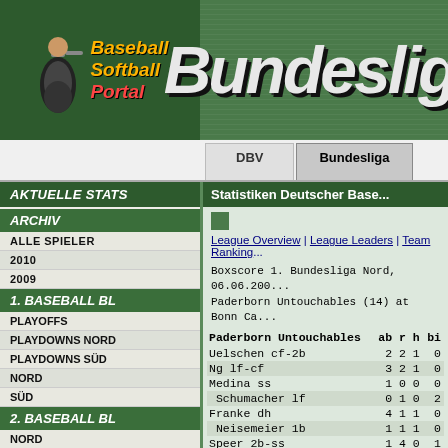[Figure (logo): Baseball Softball Portal logo with batter figure]
Bundesliga
DBV | Bundesliga navigation tabs
AKTUELLE STATS
ARCHIV
ALLE SPIELER
2010
2009
1. BASEBALL BL
PLAYOFFS
PLAYDOWNS NORD
PLAYDOWNS SÜD
NORD
SÜD
2. BASEBALL BL
NORD
SÜD
REGIONALLIGA
NORDWEST
NORDOST
SÜDWEST
SÜDOST
SOFTBALL BL
DM
Statistiken Deutscher Base...
League Overview | League Leaders | Team Rankings
Boxscore 1. Bundesliga Nord, 06.06.200... Paderborn Untouchables (14) at Bonn Ca...
| Paderborn Untouchables | ab | r | h | bi |
| --- | --- | --- | --- | --- |
| Uelschen cf-2b | 2 | 2 | 1 | 0 |
| Ng lf-cf | 3 | 2 | 1 | 0 |
| Medina ss | 1 | 0 | 0 | 0 |
| Schumacher lf | 0 | 1 | 0 | 2 |
| Franke dh | 4 | 1 | 1 | 0 |
| Neisemeier 1b | 1 | 1 | 1 | 0 |
| Speer 2b-ss | 1 | 4 | 0 | 1 |
| Schonlau 1b-p | 4 | 2 | 3 | 3 |
| Brockmeyer 3b | 5 | 0 | 1 | 1 |
| Reed c | 5 | 1 | 3 | 5 |
| Gollan c | 0 | 0 | 0 | 0 |